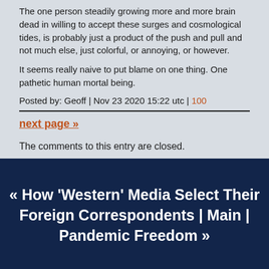The one person steadily growing more and more brain dead in willing to accept these surges and cosmological tides, is probably just a product of the push and pull and not much else, just colorful, or annoying, or however.
It seems really naive to put blame on one thing. One pathetic human mortal being.
Posted by: Geoff | Nov 23 2020 15:22 utc | 100
next page »
The comments to this entry are closed.
« How 'Western' Media Select Their Foreign Correspondents | Main | Pandemic Freedom »